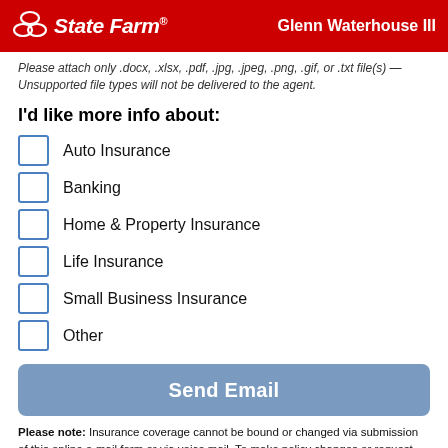State Farm — Glenn Waterhouse III
Please attach only .docx, .xlsx, .pdf, .jpg, .jpeg, .png, .gif, or .txt file(s) — Unsupported file types will not be delivered to the agent.
I'd like more info about:
Auto Insurance
Banking
Home & Property Insurance
Life Insurance
Small Business Insurance
Other
Send Email
Please note: Insurance coverage cannot be bound or changed via submission of this online e-mail form or via voice mail. To make policy changes or request additional coverage, please speak with a licensed representative in the agent's office, or by contacting the State Farm toll-free customer service line at (855) 733-